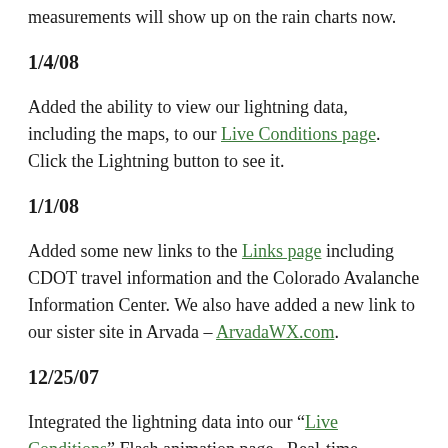measurements will show up on the rain charts now.
1/4/08
Added the ability to view our lightning data, including the maps, to our Live Conditions page.  Click the Lightning button to see it.
1/1/08
Added some new links to the Links page including CDOT travel information and the Colorado Avalanche Information Center.  We also have added a new link to our sister site in Arvada – ArvadaWX.com.
12/25/07
Integrated the lightning data into our "Live Conditions" Flash animation page.  Real-time lightning data and the past 24